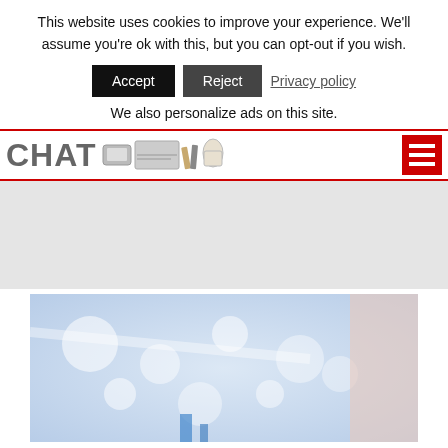This website uses cookies to improve your experience. We'll assume you're ok with this, but you can opt-out if you wish.
Accept | Reject | Privacy policy
We also personalize ads on this site.
[Figure (screenshot): Website header with CHAT logo and sketch of office items, red hamburger menu icon on right, red horizontal rule below]
[Figure (photo): Blurred interior photo with blue/white bokeh lights suggesting a modern indoor space, partial pink/peach panel on right]